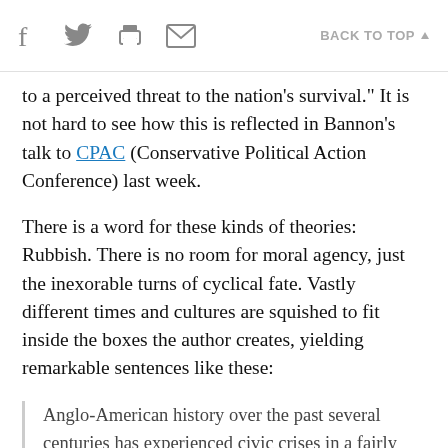f  [twitter]  [print]  [email]   BACK TO TOP ▲
to a perceived threat to the nation's survival." It is not hard to see how this is reflected in Bannon's talk to CPAC (Conservative Political Action Conference) last week.
There is a word for these kinds of theories: Rubbish. There is no room for moral agency, just the inexorable turns of cyclical fate. Vastly different times and cultures are squished to fit inside the boxes the author creates, yielding remarkable sentences like these:
Anglo-American history over the past several centuries has experienced civic crises in a fairly regular cycle, about every 80 or 90 years, or roughly the length of a long human life. This pattern reveals itself in the intervals separating the colonial Glorious Revolution